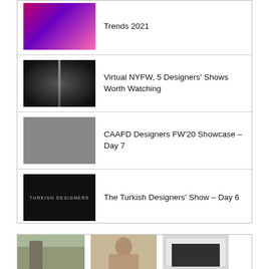Trends 2021
Virtual NYFW, 5 Designers' Shows Worth Watching
CAAFD Designers FW'20 Showcase – Day 7
The Turkish Designers' Show – Day 6
[Figure (photo): Three photos at bottom: person outdoors, woman posing, lingerie shot]